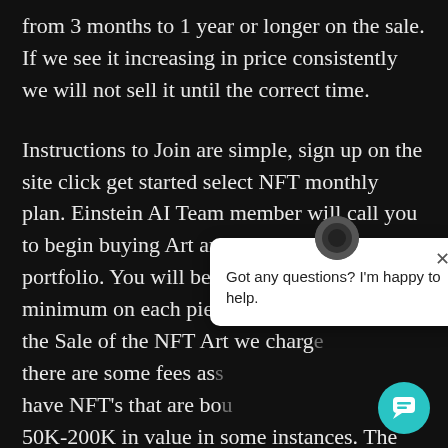from 3 months to 1 year or longer on the sale. If we see it increasing in price consistently we will not sell it until the correct time.
Instructions to Join are simple, sign up on the site click get started select NFT monthly plan. Einstein AI Team member will call you to begin buying Art and setting up in the portfolio. You will be required to fund 1K minimum on each piece of Art we select. On the Sale of the NFT Art we charge [obscured] there are some fees as [obscured] have NFT's that are bou[obscured] 50K-200K in value in some instances. The growth of this market is massive don't miss out.
[Figure (screenshot): Chat popup widget with avatar, close button (×), and message 'Got any questions? I'm happy to help.' A teal circular chat button is in the bottom-right corner.]